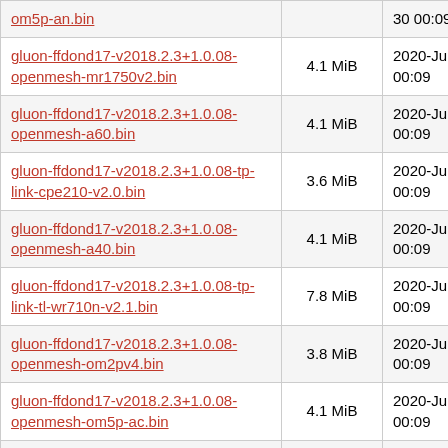| Filename | Size | Date |
| --- | --- | --- |
| om5p-an.bin |  | 30 00:09 |
| gluon-ffdond17-v2018.2.3+1.0.08-openmesh-mr1750v2.bin | 4.1 MiB | 2020-Jun-30 00:09 |
| gluon-ffdond17-v2018.2.3+1.0.08-openmesh-a60.bin | 4.1 MiB | 2020-Jun-30 00:09 |
| gluon-ffdond17-v2018.2.3+1.0.08-tp-link-cpe210-v2.0.bin | 3.6 MiB | 2020-Jun-30 00:09 |
| gluon-ffdond17-v2018.2.3+1.0.08-openmesh-a40.bin | 4.1 MiB | 2020-Jun-30 00:09 |
| gluon-ffdond17-v2018.2.3+1.0.08-tp-link-tl-wr710n-v2.1.bin | 7.8 MiB | 2020-Jun-30 00:09 |
| gluon-ffdond17-v2018.2.3+1.0.08-openmesh-om2pv4.bin | 3.8 MiB | 2020-Jun-30 00:09 |
| gluon-ffdond17-v2018.2.3+1.0.08-openmesh-om5p-ac.bin | 4.1 MiB | 2020-Jun-30 00:09 |
| gluon-ffdond17-... |  |  |